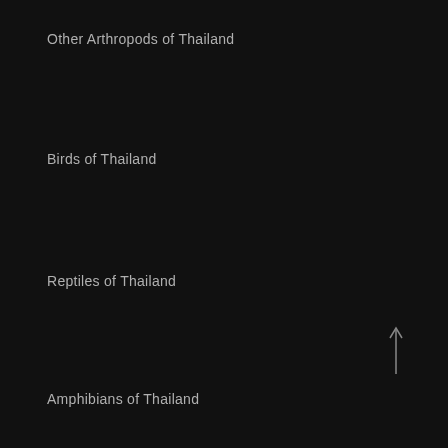Other Arthropods of Thailand
Birds of Thailand
Reptiles of Thailand
Amphibians of Thailand
Marine Fish of Thailand
Mammals of Thailand
Plants of Thailand
Fungi of Thailand
Lichen of Thailand